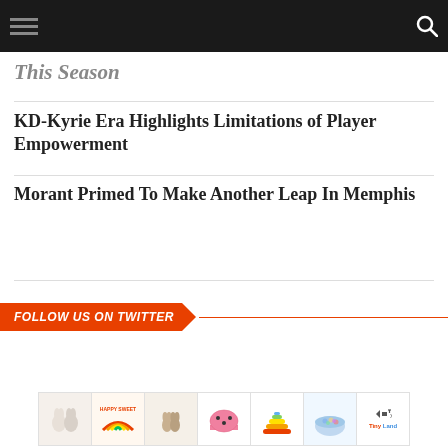[hamburger menu] [search icon]
This Season
KD-Kyrie Era Highlights Limitations of Player Empowerment
Morant Primed To Make Another Leap In Memphis
FOLLOW US ON TWITTER
[Figure (photo): Advertisement strip showing children's toy products including a rainbow toy, wooden rabbits, pink helmet, stacking rainbow, and ball pit, with Tiny Land logo]